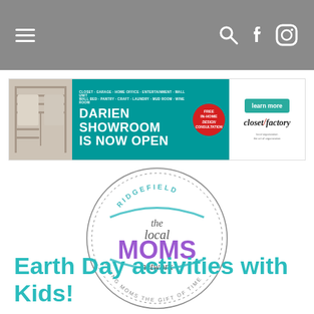Navigation bar with hamburger menu, search, Facebook, and Instagram icons
[Figure (infographic): Closet Factory advertisement banner: Darien Showroom is Now Open, with photo of closet interior, teal background with text listing room types, red circular badge saying Free In-Home Design Consultation, and right panel with learn more button and Closet Factory logo]
[Figure (logo): Ridgefield The Local MOMS Network circular logo — GIVING MOMS THE GIFT OF TIME]
Earth Day activities with Kids!